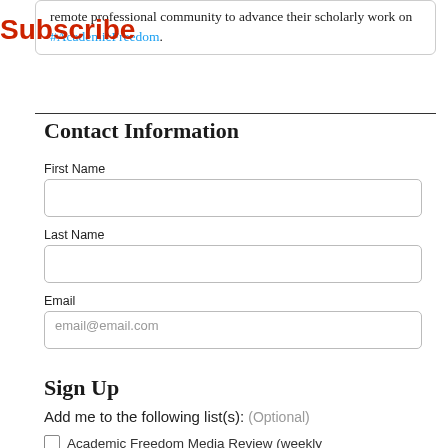remote professional community to advance their scholarly work on #AcademicFreedom.
Subscribe
Contact Information
First Name
Last Name
Email
Sign Up
Add me to the following list(s): (Optional)